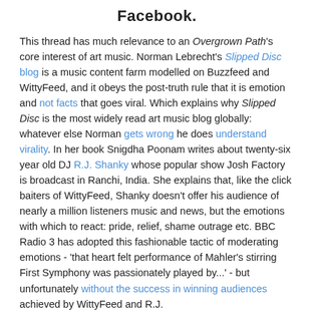Facebook.
This thread has much relevance to an Overgrown Path's core interest of art music. Norman Lebrecht's Slipped Disc blog is a music content farm modelled on Buzzfeed and WittyFeed, and it obeys the post-truth rule that it is emotion and not facts that goes viral. Which explains why Slipped Disc is the most widely read art music blog globally: whatever else Norman gets wrong he does understand virality. In her book Snigdha Poonam writes about twenty-six year old DJ R.J. Shanky whose popular show Josh Factory is broadcast in Ranchi, India. She explains that, like the click baiters of WittyFeed, Shanky doesn't offer his audience of nearly a million listeners music and news, but the emotions with which to react: pride, relief, shame outrage etc. BBC Radio 3 has adopted this fashionable tactic of moderating emotions - 'that heart felt performance of Mahler's stirring First Symphony was passionately played by...' - but unfortunately without the success in winning audiences achieved by WittyFeed and R.J. Shanky.